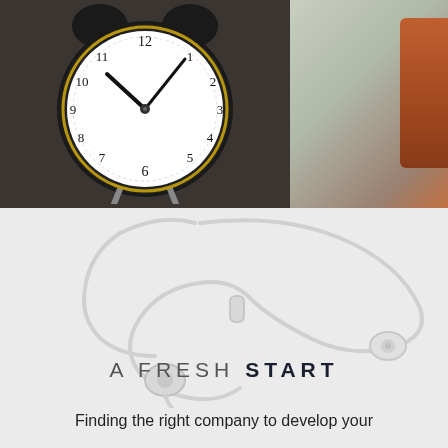[Figure (photo): Vintage alarm clock showing approximately 10:10 time, black/metal casing, white clock face with black numerals, photographed close-up with blurred background including a mug]
[Figure (photo): White wireless earphones/earbuds with cable on a light gray background, with text overlay 'A FRESH START' and subtext beginning 'Finding the right company to develop your']
A FRESH START
Finding the right company to develop your